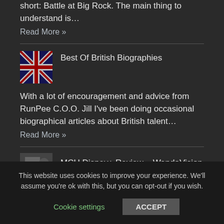If you haven't yet, watch the canon Jurassic World short: Battle at Big Rock. The main thing to understand is…
Read More »
Best Of British Biographies
[Figure (photo): Union Jack flag image thumbnail]
With a lot of encouragement and advice from RunPee C.O.O. Jill I've been doing occasional biographical articles about British talent…
Read More »
MCU Disney+ Review – WandaVision
This website uses cookies to improve your experience. We'll assume you're ok with this, but you can opt-out if you wish.
Cookie settings
ACCEPT